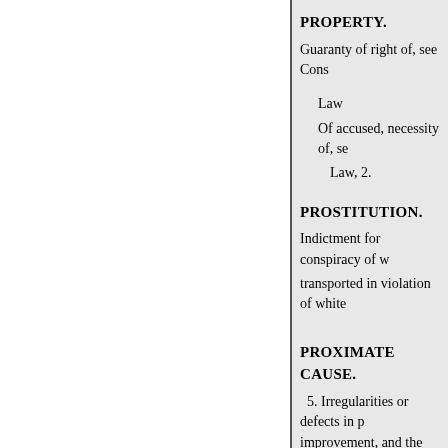PROPERTY.
Guaranty of right of, see Cons
Law
Of accused, necessity of, se
Law, 2.
PROSTITUTION.
Indictment for conspiracy of w
transported in violation of white
PROXIMATE CAUSE.
5. Irregularities or defects in p improvement, and the asquantitie where it will naturally be blown knowledge that proceeding to re and cannot be brought forward i reassessment made paper remain a wind is an independent interve negligence from being 1915D, 7 71 Or. 421. eler on the street fro especially where there is street i